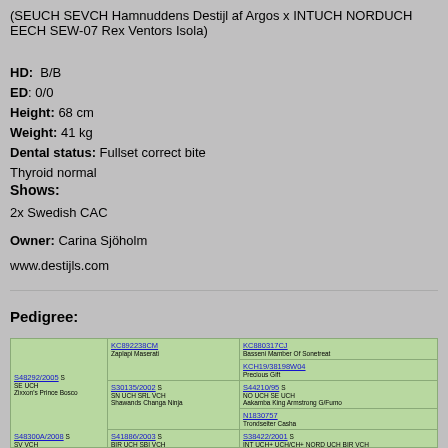(SEUCH SEVCH Hamnuddens Destijl af Argos x INTUCH NORDUCH EECH SEW-07 Rex Ventors Isola)
HD: B/B
ED: 0/0
Height: 68 cm
Weight: 41 kg
Dental status: Fullset correct bite
Thyroid normal
Shows:
2x Swedish CAC
Owner: Carina Sjöholm
www.destijls.com
Pedigree:
[Figure (other): Pedigree table showing dog lineage with KC registration numbers and names including Zaplapi Maserati, Zixxon's Prince Bosco, Shawands Changa Ninja, Hamnuddens De Stijl Af Argus, and various ancestors]